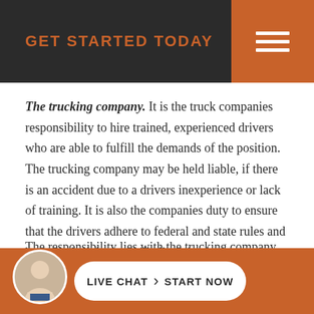GET STARTED TODAY
The trucking company. It is the truck companies responsibility to hire trained, experienced drivers who are able to fulfill the demands of the position. The trucking company may be held liable, if there is an accident due to a drivers inexperience or lack of training. It is also the companies duty to ensure that the drivers adhere to federal and state rules and have a schedule that will allow them adequate rest.
The responsibility lies with the trucking company to ensure that their fleet is safe and well maintained. They should follow a regular vehicle checklist and hire a vehicle maintenance crew
LIVE CHAT  START NOW